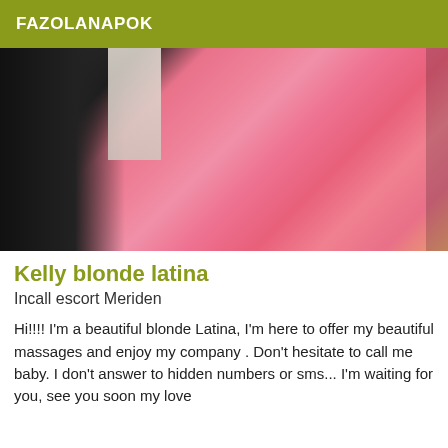FAZOLANAPOK
[Figure (photo): Photo of a person wearing a pink/red top, close-up view from behind/side]
Kelly blonde latina
Incall escort Meriden
Hi!!!! I'm a beautiful blonde Latina, I'm here to offer my beautiful massages and enjoy my company . Don't hesitate to call me baby. I don't answer to hidden numbers or sms... I'm waiting for you, see you soon my love